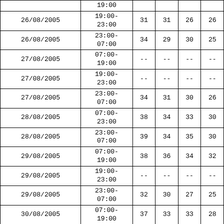| Date | Time | Col3 | Col4 | Col5 | Col6 |
| --- | --- | --- | --- | --- | --- |
| 26/08/2005 | 19:00-23:00 | 31 | 31 | 26 | 26 |
| 26/08/2005 | 23:00-07:00 | 34 | 29 | 30 | 25 |
| 27/08/2005 | 07:00-19:00 | -- | -- | -- | -- |
| 27/08/2005 | 19:00-23:00 | -- | -- | -- | -- |
| 27/08/2005 | 23:00-07:00 | 34 | 31 | 30 | 26 |
| 28/08/2005 | 07:00-23:00 | 38 | 34 | 33 | 30 |
| 28/08/2005 | 23:00-07:00 | 39 | 34 | 35 | 30 |
| 29/08/2005 | 07:00-19:00 | 38 | 36 | 34 | 32 |
| 29/08/2005 | 19:00-23:00 | -- | -- | -- | -- |
| 29/08/2005 | 23:00-07:00 | 32 | 30 | 27 | 25 |
| 30/08/2005 | 07:00-19:00 | 37 | 33 | 33 | 28 |
| 30/08/2005 | 19:00-23:00 | -- | -- | -- | -- |
| 30/08/2005 | 23:00-07:00 | 35 | 31 | 31 | 26 |
| 31/08/2005 | 07:00-19:00 | -- | -- | -- | -- |